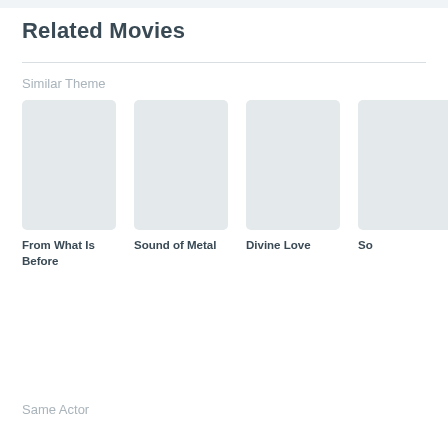Related Movies
Similar Theme
From What Is Before
Sound of Metal
Divine Love
So
Same Actor